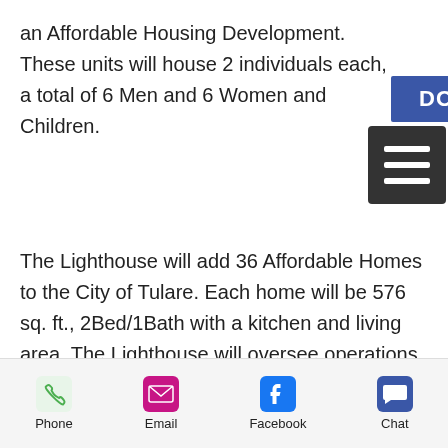an Affordable Housing Development. These units will house 2 individuals each, a total of 6 Men and 6 Women and Children.
[Figure (other): Blue DONATE button overlay]
[Figure (other): Hamburger menu icon (dark square with three white lines)]
The Lighthouse will add 36 Affordable Homes to the City of Tulare. Each home will be 576 sq. ft., 2Bed/1Bath with a kitchen and living area. The Lighthouse will oversee operations and property management of the homes as well as refer previously homeless individuals and families to available homes.
[Figure (other): Scroll-up circle arrow button]
Summer 2022:  Planning and
Phone   Email   Facebook   Chat